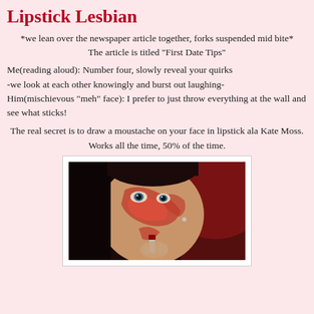Lipstick Lesbian
*we lean over the newspaper article together, forks suspended mid bite*
The article is titled "First Date Tips"
Me(reading aloud): Number four, slowly reveal your quirks
-we look at each other knowingly and burst out laughing-
Him(mischievous "meh" face): I prefer to just throw everything at the wall and see what sticks!
The real secret is to draw a moustache on your face in lipstick ala Kate Moss.
Works all the time, 50% of the time.
[Figure (photo): Woman with elaborate red lipstick smeared across her face in swirling patterns, applying lipstick, against a dark background with red tones]